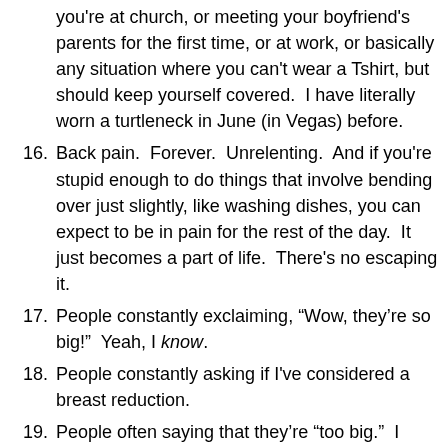(continuation) you're at church, or meeting your boyfriend's parents for the first time, or at work, or basically any situation where you can't wear a Tshirt, but should keep yourself covered.  I have literally worn a turtleneck in June (in Vegas) before.
16. Back pain.  Forever.  Unrelenting.  And if you're stupid enough to do things that involve bending over just slightly, like washing dishes, you can expect to be in pain for the rest of the day.  It just becomes a part of life.  There's no escaping it.
17. People constantly exclaiming, “Wow, they’re so big!”  Yeah, I know.
18. People constantly asking if I've considered a breast reduction.
19. People often saying that they’re “too big.”  I can’t tell you how many times I’ve heard guys say, “Yeah, I don’t know, I just think they’re into the best in...